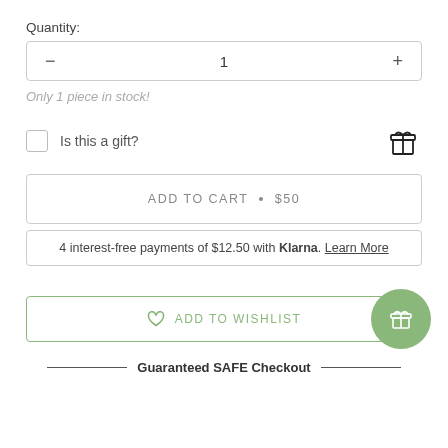Quantity:
— 1 +
Only 1 piece in stock!
Is this a gift?
ADD TO CART • $50
4 interest-free payments of $12.50 with Klarna. Learn More
♡ ADD TO WISHLIST
Guaranteed SAFE Checkout